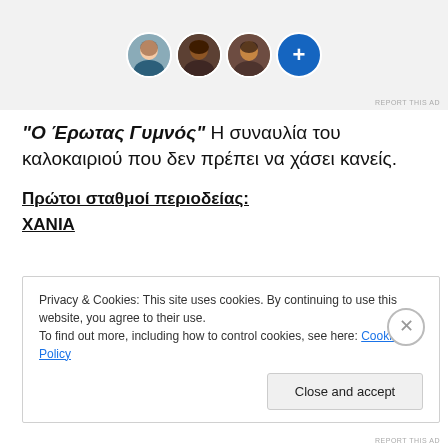[Figure (illustration): Ad banner with three circular profile photo avatars and a blue plus button]
“O τας Συμνός” Η συναυλία του καλοκαιριού που δεν πρέπει να χάσει κανείς.
Πρώτοι σταθμοί περιοδείας:
ΧΑΝΙΑ
Privacy & Cookies: This site uses cookies. By continuing to use this website, you agree to their use.
To find out more, including how to control cookies, see here: Cookie Policy
Close and accept